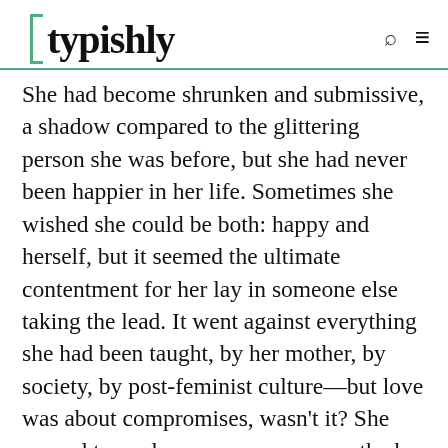typishly
She had become shrunken and submissive, a shadow compared to the glittering person she was before, but she had never been happier in her life. Sometimes she wished she could be both: happy and herself, but it seemed the ultimate contentment for her lay in someone else taking the lead. It went against everything she had been taught, by her mother, by society, by post-feminist culture—but love was about compromises, wasn't it? She paused to apply mascara, open-mouthed, and thought again of